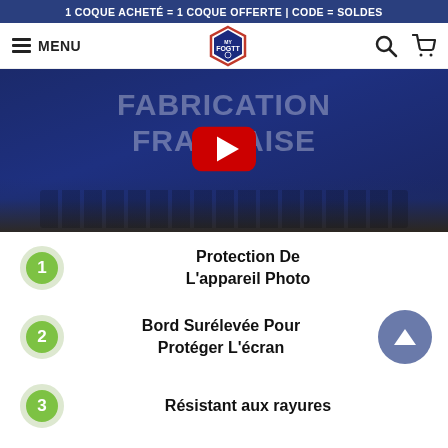1 COQUE ACHETÉ = 1 COQUE OFFERTE | CODE = SOLDES
[Figure (screenshot): Navigation bar with hamburger menu labeled MENU, a shield/football logo (My FOGTT) in the center, and search and cart icons on the right.]
[Figure (screenshot): YouTube video thumbnail showing text FABRICATION FRANÇAISE in white bold letters on a dark blue background, with a red YouTube play button in the center, and a keyboard visible at the bottom of the frame.]
1 Protection De L'appareil Photo
2 Bord Surélevée Pour Protéger L'écran
3 Résistant aux rayures